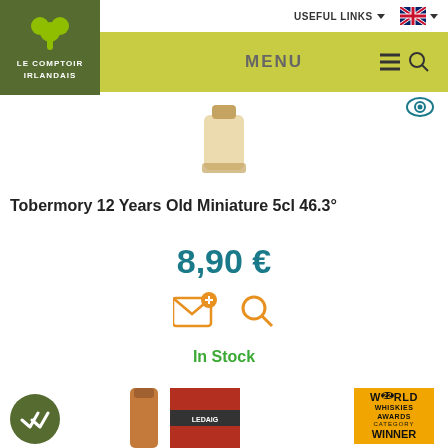USEFUL LINKS
MENU
[Figure (logo): Le Comptoir Irlandais logo — green background with shamrock and white text]
[Figure (photo): Top portion of Tobermory 12 Years Old Miniature bottle]
Tobermory 12 Years Old Miniature 5cl 46.3°
8,90 €
In Stock
[Figure (photo): Ledaig Single Malt Scotch Whisky bottle with red box and World Whiskies Awards Category Winner badge]